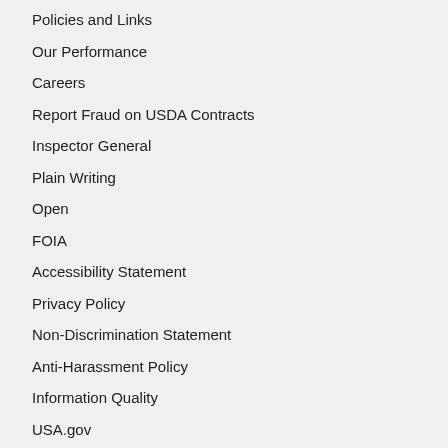Policies and Links
Our Performance
Careers
Report Fraud on USDA Contracts
Inspector General
Plain Writing
Open
FOIA
Accessibility Statement
Privacy Policy
Non-Discrimination Statement
Anti-Harassment Policy
Information Quality
USA.gov